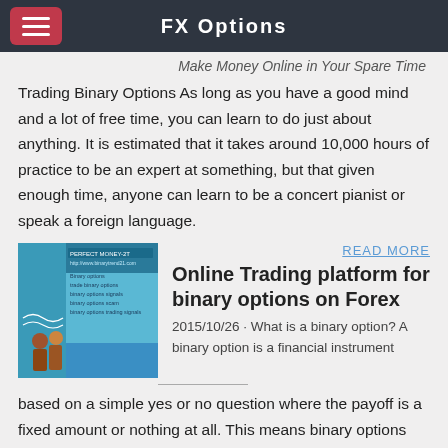FX Options
Make Money Online in Your Spare Time
Trading Binary Options As long as you have a good mind and a lot of free time, you can learn to do just about anything. It is estimated that it takes around 10,000 hours of practice to be an expert at something, but that given enough time, anyone can learn to be a concert pianist or speak a foreign language.
[Figure (illustration): Book cover image showing binary options trading themes with figures and text overlay listing: binary options, trade binary options, binary options signals, binary options scam, binary options trading signals]
READ MORE
Online Trading platform for binary options on Forex
2015/10/26 · What is a binary option? A binary option is a financial instrument based on a simple yes or no question where the payoff is a fixed amount or nothing at all. This means binary options offer defined risk and clear outcomes on every trade. Each binary option trade starts with a question - will this market be above this price at this